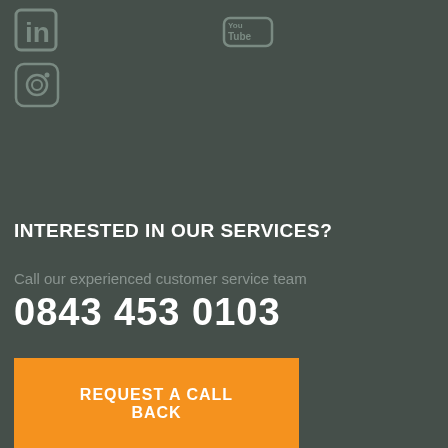[Figure (logo): LinkedIn social media icon - stylized 'in' text in a rounded square, gray color]
[Figure (logo): YouTube social media icon - 'You Tube' text with play button rectangle, gray color]
[Figure (logo): Instagram social media icon - camera icon in rounded square, gray color]
INTERESTED IN OUR SERVICES?
Call our experienced customer service team
0843 453 0103
REQUEST A CALL BACK